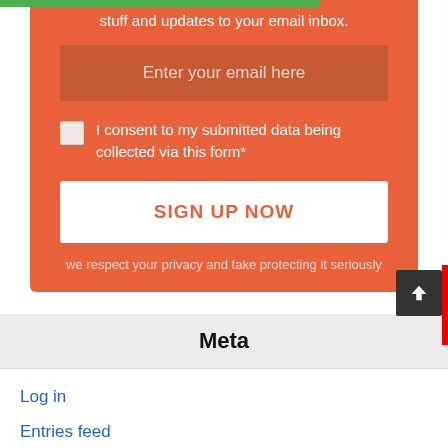stuff and updates to your email inbox.
Enter your email here
I consent to my submitted data being collected via this form*
SIGN UP NOW
we respect your privacy and take protecting it seriously
Meta
Log in
Entries feed
Comments feed
WordPress.org